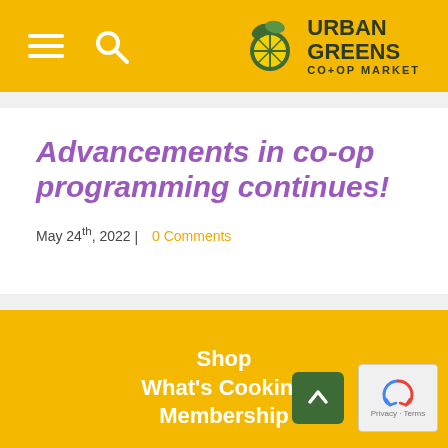Urban Greens Co-op Market
Advancements in co-op programming continues!
May 24th, 2022  |  0 Comments
Shop
What's Cooking
Membership